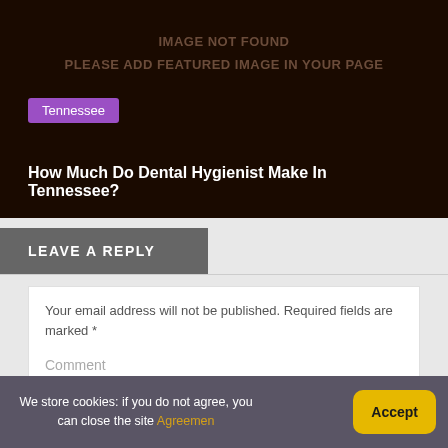[Figure (other): Dark brown background placeholder image with centered text: IMAGE NOT FOUND / PLEASE ADD FEATURED IMAGE IN YOUR PAGE]
Tennessee
How Much Do Dental Hygienist Make In Tennessee?
LEAVE A REPLY
Your email address will not be published. Required fields are marked *
Comment
We store cookies: if you do not agree, you can close the site Agreemen